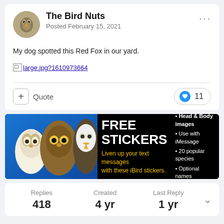The Bird Nuts
Posted February 15, 2021
My dog spotted this Red Fox in our yard.
large.jpg?1610973664
[Figure (screenshot): FREE STICKERS ad banner for iBird app showing owl, eagle, and other birds on blue/black background. Text: FREE STICKERS - Liven up your text messages with these iBird stickers. Bullet points: Head & Body images, Use with iMessage, 20 popular species, Optional names.]
Replies 418
Created 4 yr
Last Reply 1 yr